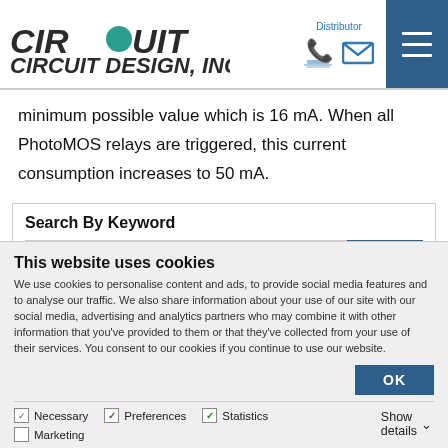Circuit Design, Inc. — Distributor header with phone and email icons and menu
minimum possible value which is 16 mA. When all PhotoMOS relays are triggered, this current consumption increases to 50 mA.
Search By Keyword
This website uses cookies
We use cookies to personalise content and ads, to provide social media features and to analyse our traffic. We also share information about your use of our site with our social media, advertising and analytics partners who may combine it with other information that you've provided to them or that they've collected from your use of their services. You consent to our cookies if you continue to use our website.